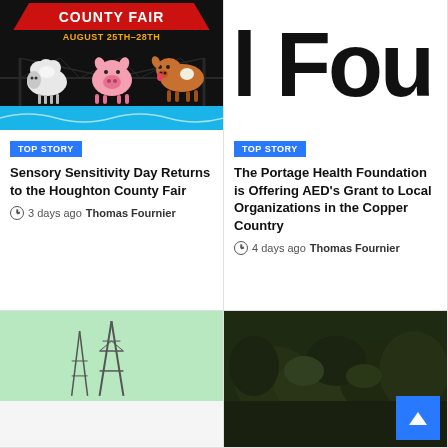[Figure (illustration): County Fair poster with red banner triangle, cartoon farm animals (sheep, pig, cow, horse), water/wave at bottom, dark background. Text: COUNTY FAIR, AUGUST 25TH-28TH]
TOP STORY
Sensory Sensitivity Day Returns to the Houghton County Fair
3 days ago  Thomas Fournier
[Figure (logo): Partial large black bold text 'l Fou' on white background, cropped — partial logo/text for Portage Health Foundation]
TOP STORY
The Portage Health Foundation is Offering AED's Grant to Local Organizations in the Copper Country
4 days ago  Thomas Fournier
[Figure (photo): Image with light green/mint background showing a utility tower or antenna structure silhouette]
[Figure (photo): Dark nature/forest photo with green foliage, very dark tones]